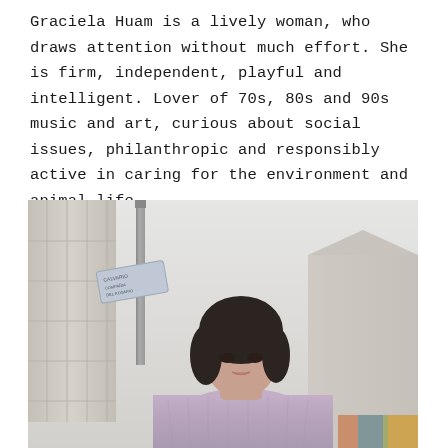Graciela Huam is a lively woman, who draws attention without much effort. She is firm, independent, playful and intelligent. Lover of 70s, 80s and 90s music and art, curious about social issues, philanthropic and responsibly active in caring for the environment and animal life.
[Figure (photo): Street-level photo looking up at a young woman with short dark hair wearing a lavender/purple ribbed sweater, standing near a metal pole with a street sign, buildings visible in the background including one with graffiti.]